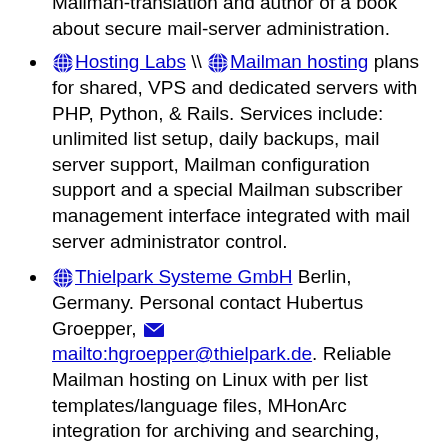Mailman-translation and author of a book about secure mail-server administration.
Hosting Labs \\ Mailman hosting plans for shared, VPS and dedicated servers with PHP, Python, & Rails. Services include: unlimited list setup, daily backups, mail server support, Mailman configuration support and a special Mailman subscriber management interface integrated with mail server administrator control.
Thielpark Systeme GmbH Berlin, Germany. Personal contact Hubertus Groepper, mailto:hgroepper@thielpark.de. Reliable Mailman hosting on Linux with per list templates/language files, MHonArc integration for archiving and searching, customization of templates to match look of your website. Address import from various data sources.
*trc.NET* - Miami, New York (212-202-0262) and London (020 7043 7111) with 6 data centers world-wide offers Mailman